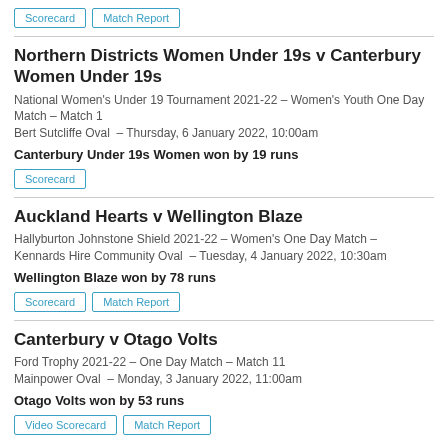Scorecard | Match Report (buttons)
Northern Districts Women Under 19s v Canterbury Women Under 19s
National Women's Under 19 Tournament 2021-22 – Women's Youth One Day Match – Match 1
Bert Sutcliffe Oval – Thursday, 6 January 2022, 10:00am
Canterbury Under 19s Women won by 19 runs
Scorecard (button)
Auckland Hearts v Wellington Blaze
Hallyburton Johnstone Shield 2021-22 – Women's One Day Match –
Kennards Hire Community Oval – Tuesday, 4 January 2022, 10:30am
Wellington Blaze won by 78 runs
Scorecard | Match Report (buttons)
Canterbury v Otago Volts
Ford Trophy 2021-22 – One Day Match – Match 11
Mainpower Oval – Monday, 3 January 2022, 11:00am
Otago Volts won by 53 runs
Video Scorecard | Match Report (buttons)